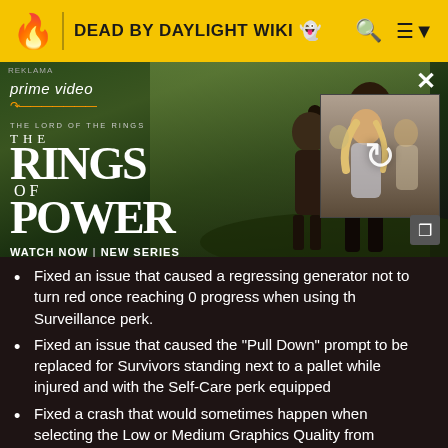DEAD BY DAYLIGHT WIKI
[Figure (screenshot): Amazon Prime Video advertisement for The Lord of the Rings: The Rings of Power. Shows two characters in a fantasy landscape with text 'THE LORD OF THE RINGS THE RINGS OF POWER WATCH NOW | NEW SERIES'. A secondary image panel with a refresh icon overlays a blonde woman with others behind her.]
Fixed an issue that caused a regressing generator not to turn red once reaching 0 progress when using the Surveillance perk.
Fixed an issue that caused the "Pull Down" prompt to be replaced for Survivors standing next to a pallet while injured and with the Self-Care perk equipped
Fixed a crash that would sometimes happen when selecting the Low or Medium Graphics Quality from Medium and above.